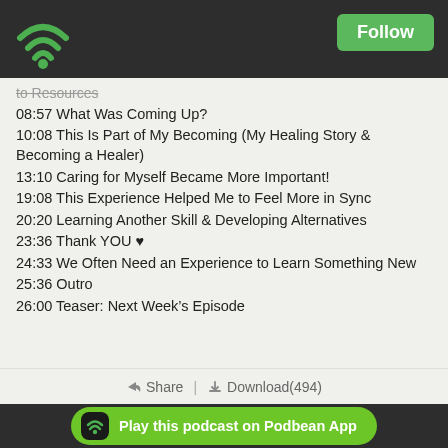[Figure (logo): Podbean app WiFi/podcast icon in top-left of dark header bar]
Follow
to Resources
08:57 What Was Coming Up?
10:08 This Is Part of My Becoming (My Healing Story & Becoming a Healer)
13:10 Caring for Myself Became More Important!
19:08 This Experience Helped Me to Feel More in Sync
20:20 Learning Another Skill & Developing Alternatives
23:36 Thank YOU ♥
24:33 We Often Need an Experience to Learn Something New
25:36 Outro
26:00 Teaser: Next Week's Episode
Share | Download(494)
Play this podcast on Podbean App